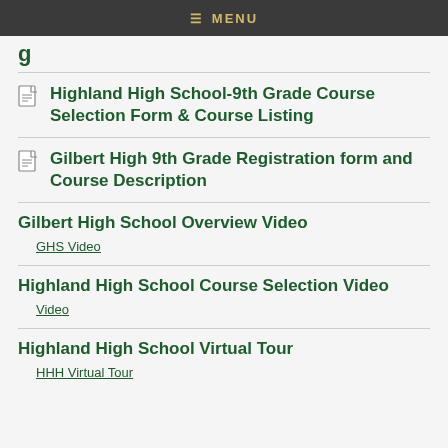MENU
g
Highland High School-9th Grade Course Selection Form & Course Listing
Gilbert High 9th Grade Registration form and Course Description
Gilbert High School Overview Video
GHS Video
Highland High School Course Selection Video
Video
Highland High School Virtual Tour
HHH Virtual Tour